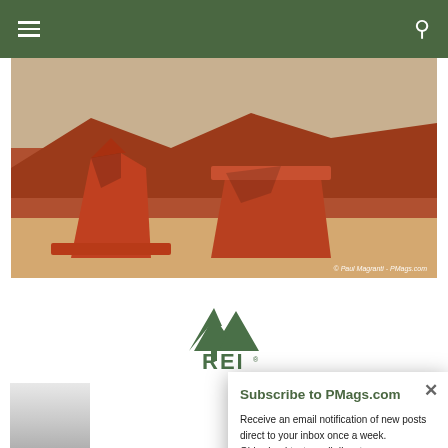Navigation header with hamburger menu and search icon
[Figure (photo): Desert landscape with red sandstone rock formations in a canyon, photo credit: © Paul Magranti - PMags.com]
[Figure (logo): REI logo with mountain/tree icon and REI text in dark green]
REI: Shop...
REI: Our...
REI: Off...
REI: Use...
[Figure (photo): Partial bottom image strip showing grey/silver material]
Subscribe to PMags.com
Receive an email notification of new posts direct to your inbox once a week.
Old school text email digest
It is easy!
CLICK HERE TO SUBSCRIBE